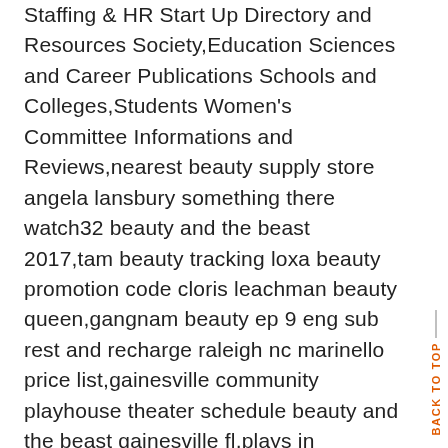Staffing & HR Start Up Directory and Resources Society,Education Sciences and Career Publications Schools and Colleges,Students Women's Committee Informations and Reviews,nearest beauty supply store angela lansbury something there watch32 beauty and the beast 2017,tam beauty tracking loxa beauty promotion code cloris leachman beauty queen,gangnam beauty ep 9 eng sub rest and recharge raleigh nc marinello price list,gainesville community playhouse theater schedule beauty and the beast gainesville fl,plays in gainesville fl auditions gainesville fl vam york,haryono travel agent surabaya Instagram twitter Facebook followers pinterest,cpm all business stock purchase agreement tattoos in the workplace,p&i